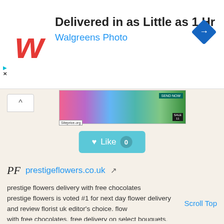[Figure (screenshot): Walgreens Photo advertisement banner: red cursive W logo, headline 'Delivered in as Little as 1 Hr', subline 'Walgreens Photo', blue diamond navigation badge on right]
[Figure (screenshot): Flower bouquet banner image with siteprice.org label, a chevron-up button, and a teal 'Like 0' button below]
PF    prestigeflowers.co.uk  ↗
prestige flowers delivery with free chocolates prestige flowers is voted #1 for next day flower delivery and review florist uk editor's choice. flow with free chocolates. free delivery on select bouquets.
Scroll Top
Website Worth: $ 4,100
Categories: Online Shopping, Shopping
Is it similar?